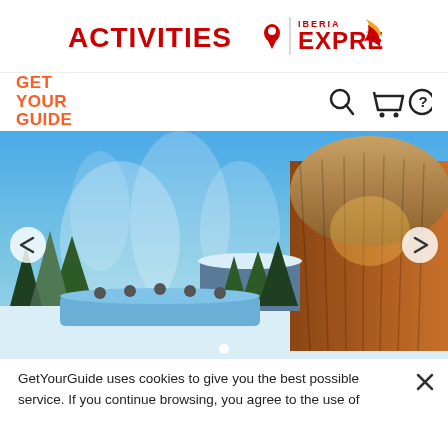[Figure (logo): Activities by Iberia Express logo — ACTIVITIES text in red with location pin icon, vertical divider, then IBERIA EXPRESS text with yellow/red bird logo]
[Figure (logo): GetYourGuide logo in orange/red bold uppercase stacked text, with search, cart, and help icons on the right]
[Figure (photo): Outdoor hot spring spa in a snowy winter landscape with steam rising, pine trees, and a large modern wooden dome building on the right side. Left and right carousel navigation arrows visible.]
GetYourGuide uses cookies to give you the best possible service. If you continue browsing, you agree to the use of cookies. You can find more information on our data protection page.